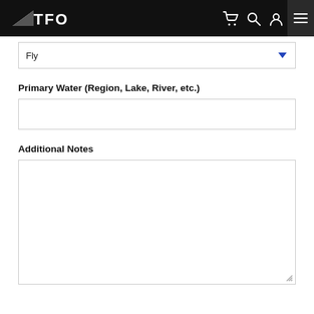TFO
Fly
Primary Water (Region, Lake, River, etc.)
Additional Notes